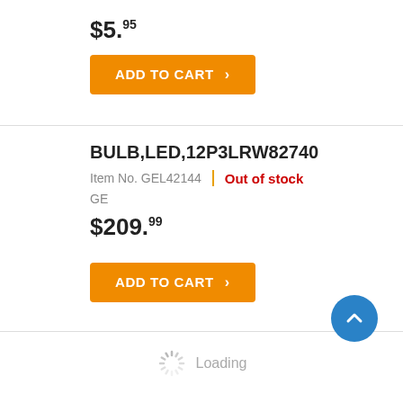$5.95
ADD TO CART
BULB,LED,12P3LRW82740
Item No. GEL42144 | Out of stock
GE
$209.99
ADD TO CART
Loading